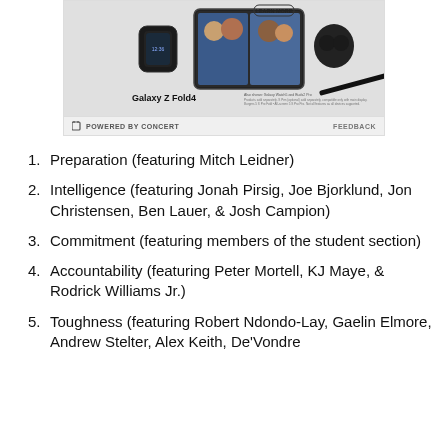[Figure (advertisement): Samsung Galaxy Z Fold4 advertisement with smartwatch, foldable phone showing video call, earbuds, and stylus. Shows 'LEARN MORE' button. Text: 'Also shown: Galaxy Watch5 and Buds2 Pro'. Bottom bar: 'POWERED BY CONCERT' and 'FEEDBACK'.]
Preparation (featuring Mitch Leidner)
Intelligence (featuring Jonah Pirsig, Joe Bjorklund, Jon Christensen, Ben Lauer, & Josh Campion)
Commitment (featuring members of the student section)
Accountability (featuring Peter Mortell, KJ Maye, & Rodrick Williams Jr.)
Toughness (featuring Robert Ndondo-Lay, Gaelin Elmore, Andrew Stelter, Alex Keith, De'Vondre